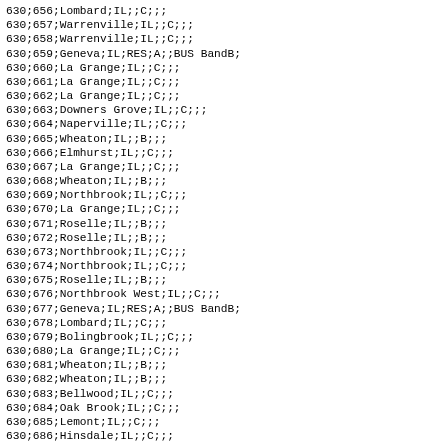630;656;Lombard;IL;;C;;;
630;657;Warrenville;IL;;C;;;
630;658;Warrenville;IL;;C;;;
630;659;Geneva;IL;RES;A;;BUS BandB;
630;660;La Grange;IL;;C;;;
630;661;La Grange;IL;;C;;;
630;662;La Grange;IL;;C;;;
630;663;Downers Grove;IL;;C;;;
630;664;Naperville;IL;;C;;;
630;665;Wheaton;IL;;B;;;
630;666;Elmhurst;IL;;C;;;
630;667;La Grange;IL;;C;;;
630;668;Wheaton;IL;;B;;;
630;669;Northbrook;IL;;C;;;
630;670;La Grange;IL;;C;;;
630;671;Roselle;IL;;B;;;
630;672;Roselle;IL;;B;;;
630;673;Northbrook;IL;;C;;;
630;674;Northbrook;IL;;C;;;
630;675;Roselle;IL;;B;;;
630;676;Northbrook West;IL;;C;;;
630;677;Geneva;IL;RES;A;;BUS BandB;
630;678;Lombard;IL;;C;;;
630;679;Bolingbrook;IL;;C;;;
630;680;La Grange;IL;;C;;;
630;681;Wheaton;IL;;B;;;
630;682;Wheaton;IL;;B;;;
630;683;Bellwood;IL;;C;;;
630;684;Oak Brook;IL;;C;;;
630;685;Lemont;IL;;C;;;
630;686;Hinsdale;IL;;C;;;